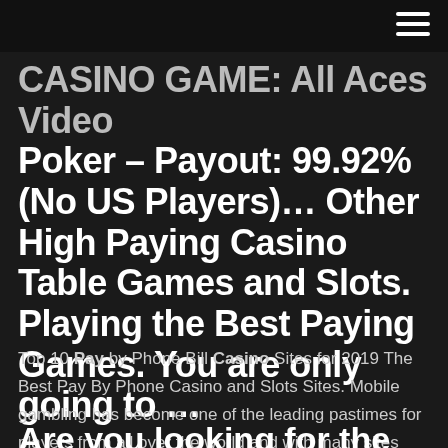CASINO GAME: All Aces Video Poker – Payout: 99.92% (No US Players)… Other High Paying Casino Table Games and Slots. Playing the Best Paying Games. You are only going to …
Top 10 Pay by Phone Bill Casino Sites for 2019 The Best Pay By Phone Casino and Slots Sites. Mobile gambling has become one of the leading pastimes for players from all over the world and with many sites offering secure payment methods, more and more players are starting to enjoy the real money gambling action that is available online...
Are you looking for the casino with the